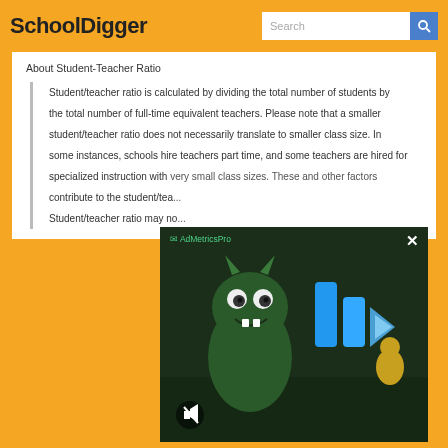SchoolDigger
About Student-Teacher Ratio
Student/teacher ratio is calculated by dividing the total number of students by the total number of full-time equivalent teachers. Please note that a smaller student/teacher ratio does not necessarily translate to smaller class size. In some instances, schools hire teachers part time, and some teachers are hired for specialized instruction with very small class sizes. These and other factors contribute to the student/teacher ratio calculation. Student/teacher ratio may no...
[Figure (screenshot): AdMetricsPro video advertisement overlay showing animated cartoon character with blue play button graphics, with close (X) button in top right and mute button in bottom left]